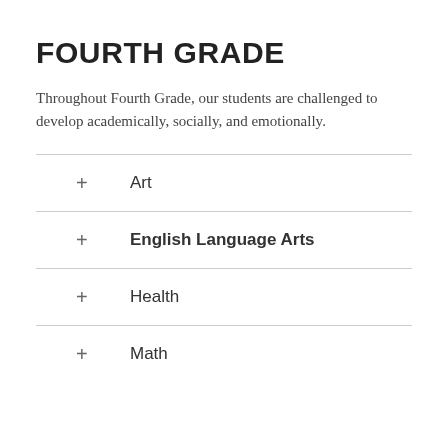FOURTH GRADE
Throughout Fourth Grade, our students are challenged to develop academically, socially, and emotionally.
+ Art
+ English Language Arts
+ Health
+ Math